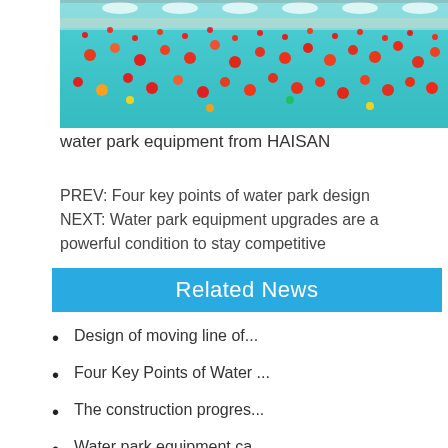[Figure (photo): Crowded water park pool with many people swimming, wearing red and colorful swimwear, with teal/turquoise water. Umbrellas and structures visible in background.]
water park equipment from HAISAN
PREV: Four key points of water park design
NEXT: Water park equipment upgrades are a powerful condition to stay competitive
Related News
Design of moving line of...
Four Key Points of Water ...
The construction progres...
Water park equipment ca...